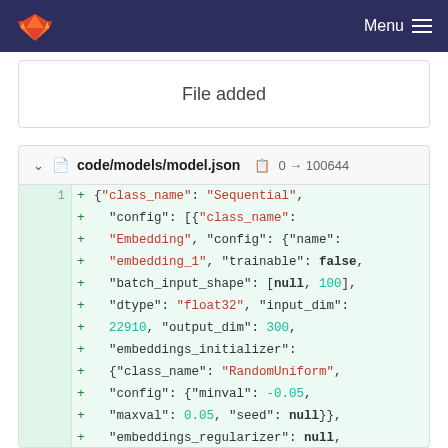Menu
File added
code/models/model.json  0 → 100644
{"class_name": "Sequential", "config": [{"class_name": "Embedding", "config": {"name": "embedding_1", "trainable": false, "batch_input_shape": [null, 100], "dtype": "float32", "input_dim": 22910, "output_dim": 300, "embeddings_initializer": {"class_name": "RandomUniform", "config": {"minval": -0.05, "maxval": 0.05, "seed": null}}, "embeddings_regularizer": null, "activity_regularizer": null, "embeddings_constraint": null,